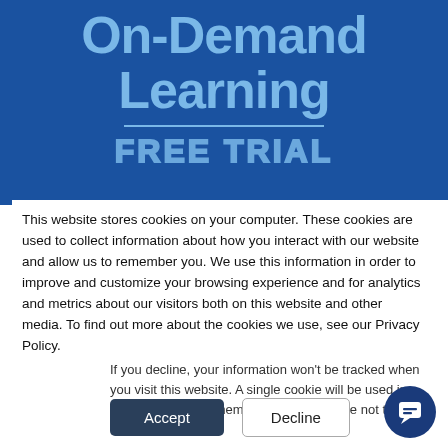[Figure (screenshot): Blue banner with large bold light-blue text reading 'On-Demand Learning', a horizontal line, and partially visible text 'FREE TRIAL' in block/outline letters]
This website stores cookies on your computer. These cookies are used to collect information about how you interact with our website and allow us to remember you. We use this information in order to improve and customize your browsing experience and for analytics and metrics about our visitors both on this website and other media. To find out more about the cookies we use, see our Privacy Policy.
If you decline, your information won't be tracked when you visit this website. A single cookie will be used in your browser to remember your preference not to be tracked.
Accept
Decline